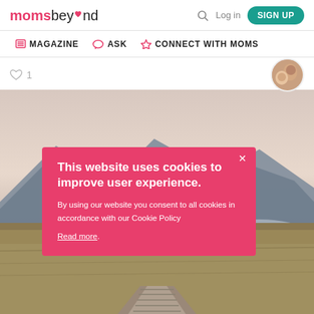moms beyond — Log in — SIGN UP — MAGAZINE — ASK — CONNECT WITH MOMS
♡ 1
[Figure (photo): Landscape photo of a wooden boardwalk path through brown marsh grass with mountains and a muted pink sky in the background]
This website uses cookies to improve user experience. By using our website you consent to all cookies in accordance with our Cookie Policy Read more.